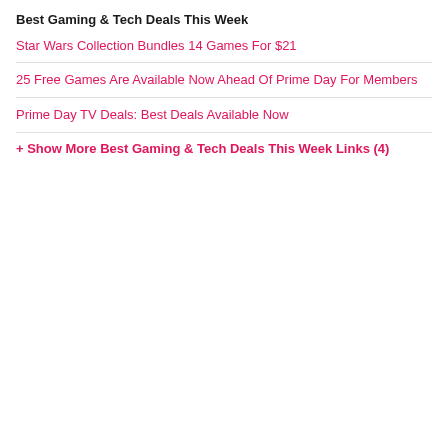Best Gaming & Tech Deals This Week
Star Wars Collection Bundles 14 Games For $21
25 Free Games Are Available Now Ahead Of Prime Day For Members
Prime Day TV Deals: Best Deals Available Now
+ Show More Best Gaming & Tech Deals This Week Links (4)